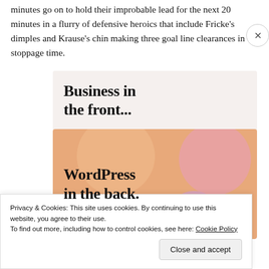minutes go on to hold their improbable lead for the next 20 minutes in a flurry of defensive heroics that include Fricke's dimples and Krause's chin making three goal line clearances in stoppage time.
[Figure (illustration): Advertisement image with two sections: top section has light beige/cream background with bold text 'Business in the front...'; bottom section has orange/peach background with decorative blobs in orange, pink and mauve colors, and bold text 'WordPress in the back.']
Privacy & Cookies: This site uses cookies. By continuing to use this website, you agree to their use.
To find out more, including how to control cookies, see here: Cookie Policy
Close and accept